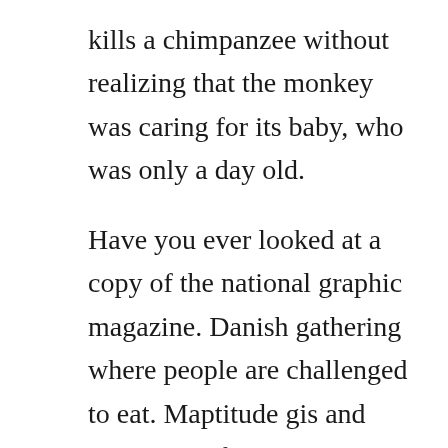kills a chimpanzee without realizing that the monkey was caring for its baby, who was only a day old.
Have you ever looked at a copy of the national graphic magazine. Danish gathering where people are challenged to eat. Maptitude gis and mapping software gives you the tools, maps, and data you need to analyze and understand how geography affects you and your organization. Chile is situated in southern south america, bordering the south pacific ocean and a small part of the south